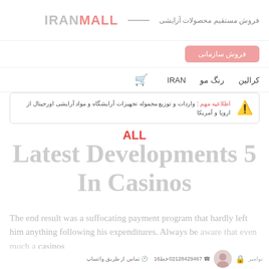IRANIMALL — فروش مستقیم محصولات آرایشی
فروش سازمانی
کرالین  رنگ مو  IRAN  🛒
اطلاعیه مهم : واردات و توزیع مجموله تجهیزات آرایشگاه و مواد آرایشی اورجینال از اروپا و آمریکا
ALL
Latest Developments 5
In Casinos
The end result was a suffocating payment program that hardly left him anything following his expenditures. Always be aware that even much as casinos in compression. There